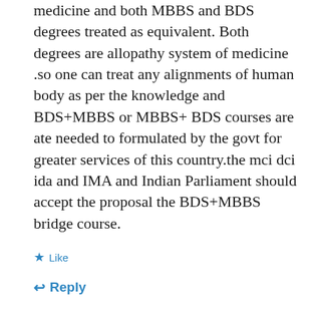medicine and both MBBS and BDS degrees treated as equivalent. Both degrees are allopathy system of medicine .so one can treat any alignments of human body as per the knowledge and BDS+MBBS or MBBS+ BDS courses are ate needed to formulated by the govt for greater services of this country.the mci dci ida and IMA and Indian Parliament should accept the proposal the BDS+MBBS bridge course.
Like
Reply
ARVIND DHAKAD
December 4, 2015 at 12:57 pm
1  0  Rate This